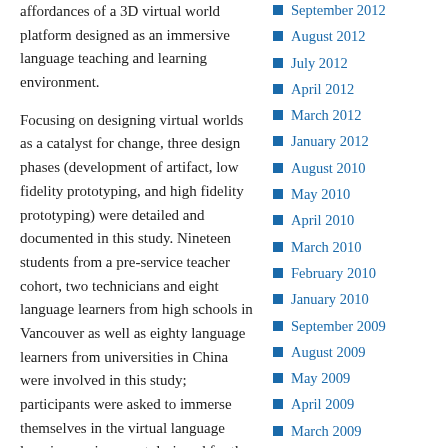affordances of a 3D virtual world platform designed as an immersive language teaching and learning environment.
Focusing on designing virtual worlds as a catalyst for change, three design phases (development of artifact, low fidelity prototyping, and high fidelity prototyping) were detailed and documented in this study. Nineteen students from a pre-service teacher cohort, two technicians and eight language learners from high schools in Vancouver as well as eighty language learners from universities in China were involved in this study; participants were asked to immerse themselves in the virtual language learning environment designed for the study. Participants' interactions in the virtual world were videotaped and avatar interactions were
September 2012
August 2012
July 2012
April 2012
March 2012
January 2012
August 2010
May 2010
April 2010
March 2010
February 2010
January 2010
September 2009
August 2009
May 2009
April 2009
March 2009